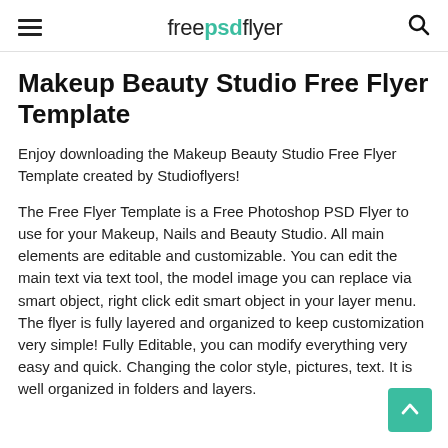freepsdflyer
Makeup Beauty Studio Free Flyer Template
Enjoy downloading the Makeup Beauty Studio Free Flyer Template created by Studioflyers!
The Free Flyer Template is a Free Photoshop PSD Flyer to use for your Makeup, Nails and Beauty Studio. All main elements are editable and customizable. You can edit the main text via text tool, the model image you can replace via smart object, right click edit smart object in your layer menu. The flyer is fully layered and organized to keep customization very simple! Fully Editable, you can modify everything very easy and quick. Changing the color style, pictures, text. It is well organized in folders and layers.